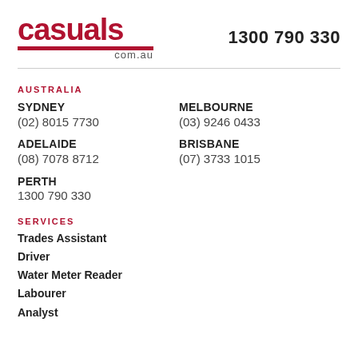[Figure (logo): casuals.com.au logo in dark red/crimson with a red bar underneath and 'com.au' text]
1300 790 330
AUSTRALIA
SYDNEY
(02) 8015 7730
MELBOURNE
(03) 9246 0433
ADELAIDE
(08) 7078 8712
BRISBANE
(07) 3733 1015
PERTH
1300 790 330
SERVICES
Trades Assistant
Driver
Water Meter Reader
Labourer
Analyst